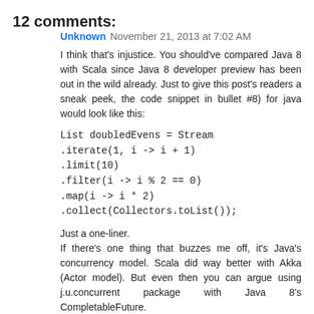12 comments:
Unknown  November 21, 2013 at 7:02 AM
I think that's injustice. You should've compared Java 8 with Scala since Java 8 developer preview has been out in the wild already. Just to give this post's readers a sneak peek, the code snippet in bullet #8) for java would look like this:
List doubledEvens = Stream
.iterate(1, i -> i + 1)
.limit(10)
.filter(i -> i % 2 == 0)
.map(i -> i * 2)
.collect(Collectors.toList());
Just a one-liner.
If there's one thing that buzzes me off, it's Java's concurrency model. Scala did way better with Akka (Actor model). But even then you can argue using j.u.concurrent package with Java 8's CompletableFuture.